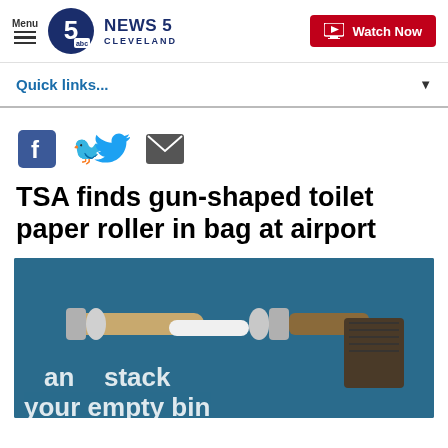Menu | NEWS 5 CLEVELAND | Watch Now
Quick links...
[Figure (other): Social media share icons: Facebook, Twitter, Email]
TSA finds gun-shaped toilet paper roller in bag at airport
[Figure (photo): Photo of a gun-shaped toilet paper roller made of metal, placed on a teal/blue TSA bin with text reading 'an stack your empty bin']